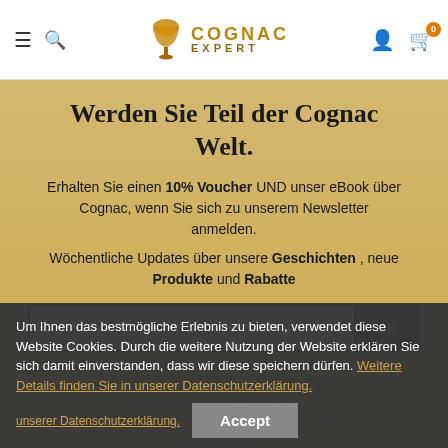[Figure (logo): Cognac Expert logo with cognac glass icon and brand name]
Werden Sie Teil der Cognac Welt.
Erhalten Sie einen 10% Voucher UND unser eBook über Cognac, wenn Sie sich zu unserem Newsletter anmelden.
Wöchentliche Updates über unsere Geschichten , neue Produkte und Rabatte
Ihre E-Mail Adresse
Durch das Absenden des Formulares wird Ihre E-Mail Softrue-Anbieter Mailchimp zum technischen Versand unseres Newsletters übermittelt. Hier finden Sie die Datenschutzerklärung von mailchimp. Die Einwilligung kann jederzeit von Ihnen widerrufen werden. Weitere Informationen hierzu finden Sie in unserer Datenschutzerklärung .
Um Ihnen das bestmögliche Erlebnis zu bieten, verwendet diese Website Cookies. Durch die weitere Nutzung der Website erklären Sie sich damit einverstanden, dass wir diese speichern dürfen. Weitere Details finden Sie in unserer Datenschutzerklärung.